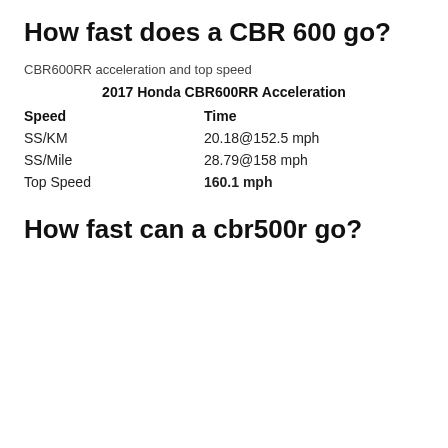How fast does a CBR 600 go?
CBR600RR acceleration and top speed
| Speed | Time |
| --- | --- |
| SS/KM | 20.18@152.5 mph |
| SS/Mile | 28.79@158 mph |
| Top Speed | 160.1 mph |
How fast can a cbr500r go?